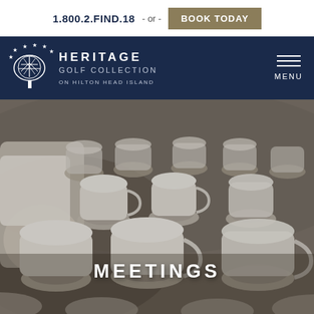1.800.2.FIND.18 - or - BOOK TODAY
[Figure (logo): Heritage Golf Collection on Hilton Head Island logo — white tree with stars on dark navy background, text reads HERITAGE GOLF COLLECTION ON HILTON HEAD ISLAND]
MENU
[Figure (photo): Close-up photograph of rows of stacked white coffee cups and saucers on a table, with a person's hand in white sleeve placing/arranging cups in the background. The scene is set up for a catering or meeting event.]
MEETINGS